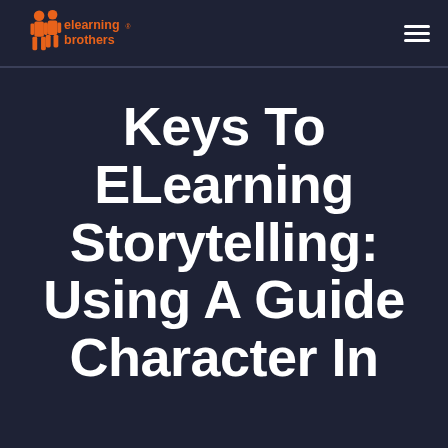[Figure (logo): eLearning Brothers logo — two orange silhouetted figures with orange text 'elearning brothers']
Keys To ELearning Storytelling: Using A Guide Character In